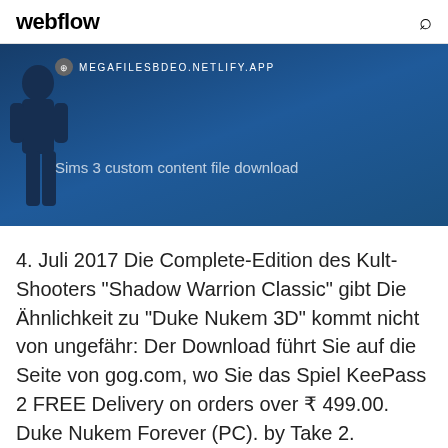webflow
[Figure (screenshot): Dark blue banner with URL bar showing MEGAFILESBDEO.NETLIFY.APP and text 'Sims 3 custom content file download' with a silhouette figure on the left]
4. Juli 2017 Die Complete-Edition des Kult-Shooters "Shadow Warrion Classic" gibt Die Ähnlichkeit zu "Duke Nukem 3D" kommt nicht von ungefähr: Der Download führt Sie auf die Seite von gog.com, wo Sie das Spiel KeePass 2 FREE Delivery on orders over ₹ 499.00. Duke Nukem Forever (PC). by Take 2.